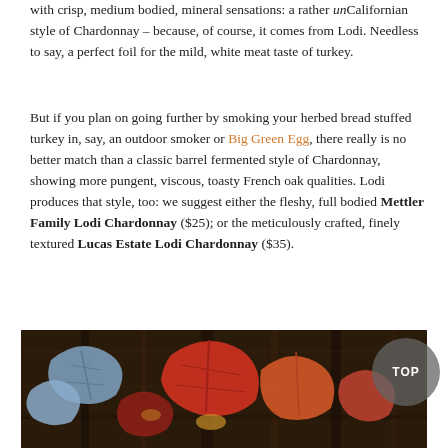with crisp, medium bodied, mineral sensations: a rather unCalifornian style of Chardonnay – because, of course, it comes from Lodi. Needless to say, a perfect foil for the mild, white meat taste of turkey.
But if you plan on going further by smoking your herbed bread stuffed turkey in, say, an outdoor smoker or Big Green Egg, there really is no better match than a classic barrel fermented style of Chardonnay, showing more pungent, viscous, toasty French oak qualities. Lodi produces that style, too: we suggest either the fleshy, full bodied Mettler Family Lodi Chardonnay ($25); or the meticulously crafted, finely textured Lucas Estate Lodi Chardonnay ($35).
[Figure (photo): Autumn grapevine leaves in shades of red, orange, and blue-green against a dark bark background]